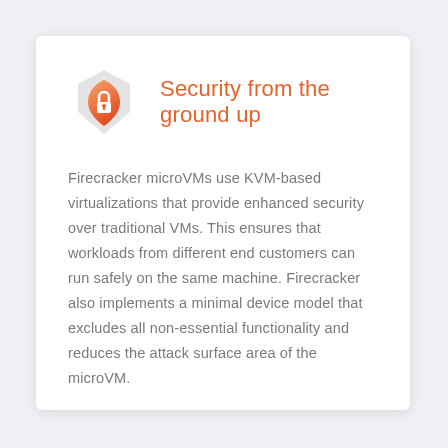[Figure (illustration): Shield icon with padlock in orange/red gradient color, overlapping a light gray hexagonal/shield shape in the background]
Security from the ground up
Firecracker microVMs use KVM-based virtualizations that provide enhanced security over traditional VMs. This ensures that workloads from different end customers can run safely on the same machine. Firecracker also implements a minimal device model that excludes all non-essential functionality and reduces the attack surface area of the microVM.